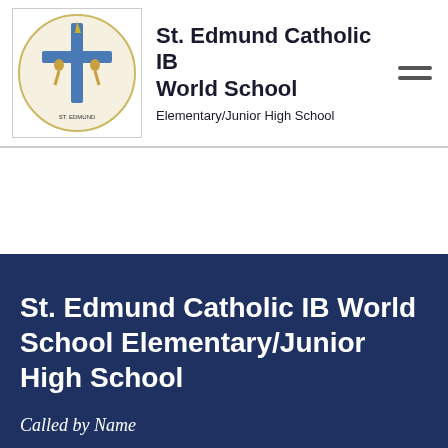[Figure (logo): St. Edmund Catholic IB World School circular logo with cross and figures]
St. Edmund Catholic IB World School
Elementary/Junior High School
St. Edmund Catholic IB World School Elementary/Junior High School
Called by Name